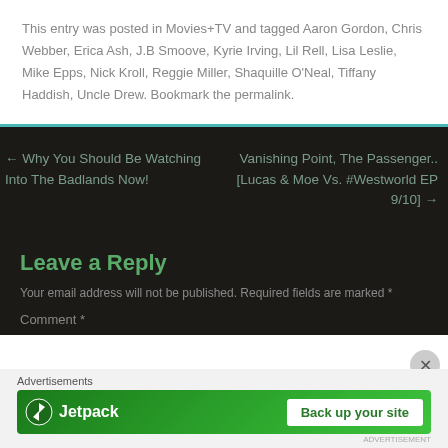This entry was posted in Movies+TV and tagged Aaron Gordon, Chris Webber, Erica Ash, J.B Smoove, Kyrie Irving, Lil Rell, Lisa Leslie, Mike Epps, Nick Kroll, Reggie Miller, Shaquille O'Neal, Tiffany Haddish, Uncle Drew. Bookmark the permalink.
← Why You Should Be Watching Into The Badlands Now!
Vanishing Point, The Passenger.. [Lucas & Moe Vs. #Westworld EP 9/10] →
Leave a Reply
Your email address will not be published. Required fields are marked *
Comment *
[Figure (infographic): Jetpack advertisement banner with green background, Jetpack logo and 'Back up your site' button]